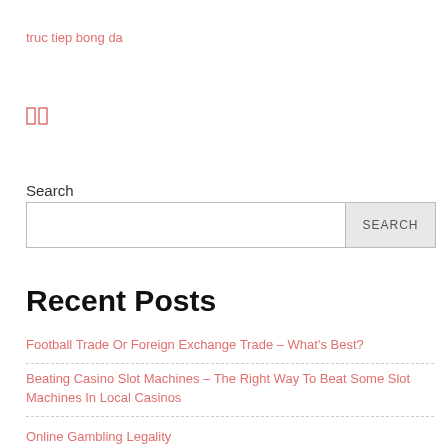truc tiep bong da
[Figure (other): Small icon with two vertical bars, outlined in red/salmon color]
Search
SEARCH (search input box with button)
Recent Posts
Football Trade Or Foreign Exchange Trade – What's Best?
Beating Casino Slot Machines – The Right Way To Beat Some Slot Machines In Local Casinos
Online Gambling Legality